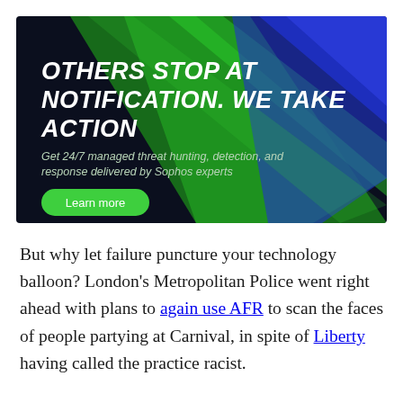[Figure (infographic): Sophos advertisement banner with dark background and green/blue diagonal stripe design. Bold italic white text reads 'OTHERS STOP AT NOTIFICATION. WE TAKE ACTION'. Subtitle: 'Get 24/7 managed threat hunting, detection, and response delivered by Sophos experts'. Green pill-shaped button labeled 'Learn more'.]
But why let failure puncture your technology balloon? London's Metropolitan Police went right ahead with plans to again use AFR to scan the faces of people partying at Carnival, in spite of Liberty having called the practice racist.